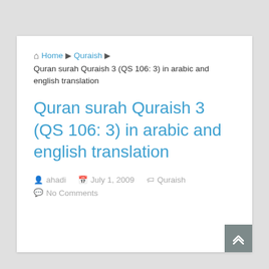Home ▶ Quraish ▶
Quran surah Quraish 3 (QS 106: 3) in arabic and english translation
Quran surah Quraish 3 (QS 106: 3) in arabic and english translation
ahadi   July 1, 2009   Quraish   No Comments